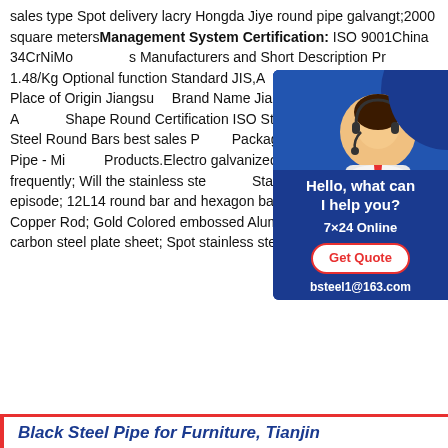sales type Spot delivery lacry Hongda Jiye round pipe galvangt;2000 square meters Management System Certification: ISO 9001China 34CrNiMo... Manufacturers and Short Description Pr... 1.48/Kg Optional function Standard JIS,A... Grade 300 Series Place of Origin Jiangsu Brand Name Jiangsu Steel Type Round A... Shape Round Certification ISO Steel Rou... 300series Steel Round Bars best sales P... Packaging DetailsCarbon Steel Pipe - Mi... Products.Electro galvanized steel sheet; changes frequently; Will the stainless ste... Stainless steel plate delivery episode; 12L14 round bar and hexagon bar; C11000 Copper bar Copper Rod; Gold Colored embossed Aluminum foil; hot rolled low carbon steel plate sheet; Spot stainless steel
[Figure (illustration): Customer service chat widget with a photo of a woman wearing a headset, blue background, text reading 'Hello, what can I help you?', '7x24 Online', 'Get Quote' button, and 'bsteel1@163.com']
Black Steel Pipe for Furniture, Tianjin